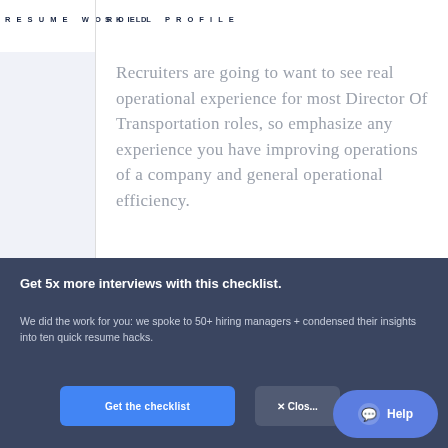RESUME WORDED | SKILL PROFILE
Recruiters are going to want to see real operational experience for most Director Of Transportation roles, so emphasize any experience you have improving operations of a company and general operational efficiency.
HOW TO SHOW OPERATIONS SKILLS ON YOUR RESUME
Get 5x more interviews with this checklist.
We did the work for you: we spoke to 50+ hiring managers + condensed their insights into ten quick resume hacks.
Get the checklist
× Close